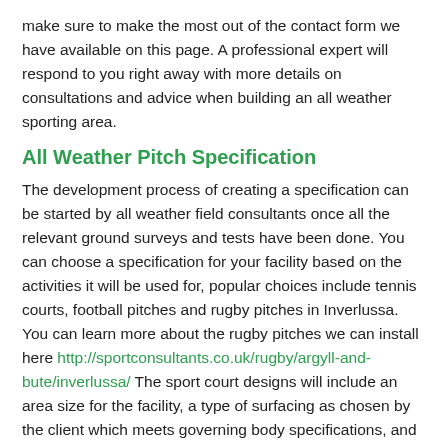make sure to make the most out of the contact form we have available on this page. A professional expert will respond to you right away with more details on consultations and advice when building an all weather sporting area.
All Weather Pitch Specification
The development process of creating a specification can be started by all weather field consultants once all the relevant ground surveys and tests have been done. You can choose a specification for your facility based on the activities it will be used for, popular choices include tennis courts, football pitches and rugby pitches in Inverlussa. You can learn more about the rugby pitches we can install here http://sportconsultants.co.uk/rugby/argyll-and-bute/inverlussa/ The sport court designs will include an area size for the facility, a type of surfacing as chosen by the client which meets governing body specifications, and a schedule of works for construction. As specialist sport consultants we then help our client with applying for any planning permission which may be necessary so we may finalise the plans for the facility and begin finding a contractor to complete the project.